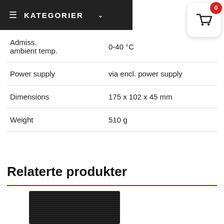KATEGORIER
| Property | Value |
| --- | --- |
| Admiss. ambient temp. | 0-40 °C |
| Power supply | via encl. power supply |
| Dimensions | 175 x 102 x 45 mm |
| Weight | 510 g |
Relaterte produkter
[Figure (photo): Black speaker/audio product with grille texture]